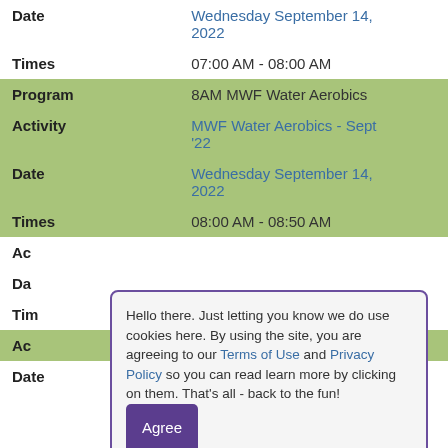| Date | Wednesday September 14, 2022 |
| Times | 07:00 AM - 08:00 AM |
| Program | 8AM MWF Water Aerobics |
| Activity | MWF Water Aerobics - Sept '22 |
| Date | Wednesday September 14, 2022 |
| Times | 08:00 AM - 08:50 AM |
| Activity | (partially visible) |
| Date | (partially visible) |
| Times | (partially visible) |
| Activity | (partially visible) |
| Date | Wednesday September 14, 2022 |
Hello there. Just letting you know we do use cookies here. By using the site, you are agreeing to our Terms of Use and Privacy Policy so you can read learn more by clicking on them. That's all - back to the fun!